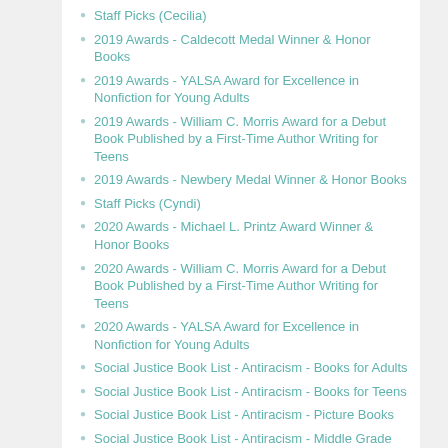Staff Picks (Cecilia)
2019 Awards - Caldecott Medal Winner & Honor Books
2019 Awards - YALSA Award for Excellence in Nonfiction for Young Adults
2019 Awards - William C. Morris Award for a Debut Book Published by a First-Time Author Writing for Teens
2019 Awards - Newbery Medal Winner & Honor Books
Staff Picks (Cyndi)
2020 Awards - Michael L. Printz Award Winner & Honor Books
2020 Awards - William C. Morris Award for a Debut Book Published by a First-Time Author Writing for Teens
2020 Awards - YALSA Award for Excellence in Nonfiction for Young Adults
Social Justice Book List - Antiracism - Books for Adults
Social Justice Book List - Antiracism - Books for Teens
Social Justice Book List - Antiracism - Picture Books
Social Justice Book List - Antiracism - Middle Grade Books
Black Lives Matter Book of the Week
2020 Awards - Caldecott Medal Winner & Honor Books
2020 Awards - Newbery Medal Winner & Honor Books
2020 Awards - Robert F. Sibert Informational Book Medal Winner & Honor Books
Most Borrowed Books of 2020
2021 Awards - Newbery Medal Winner & Honor Books